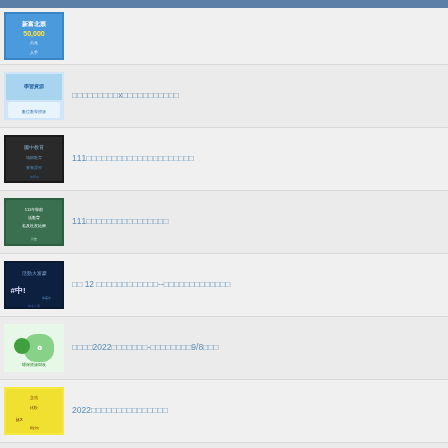[Figure (screenshot): Top navigation bar in blue/teal]
□□□□□□□□□x□□□□□□□□□□□
111□□□□□□□□□□□□□□□□□□□□□
111□□□□□□□□□□□□□□□□
□□ 12 □□□□□□□□□□□□--□□□□□□□□□□□□□
□□□□2022□□□□□□□-□□□□□□□□9/8□□□
2022□□□□□□□□□□□□□□□
☺□□□□□□□□ □□□□□□□□□□□□□ □ □□□□□□□□□□□□